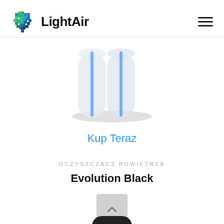[Figure (logo): LightAir logo: pixelated heart shape in green and blue colors, followed by bold text 'LightAir']
[Figure (photo): LightAir air purifier product photo — tall cylindrical transparent/white device with a blue glowing vertical strip in the center, sitting on a white base]
Kup Teraz
OCZYSZCZACZ POWIETRZA
Evolution Black
[Figure (other): Grey scroll-to-top button with upward-pointing chevron/caret arrow]
[Figure (photo): Bottom portion of a dark/black cylindrical air purifier product partially visible at the bottom edge]